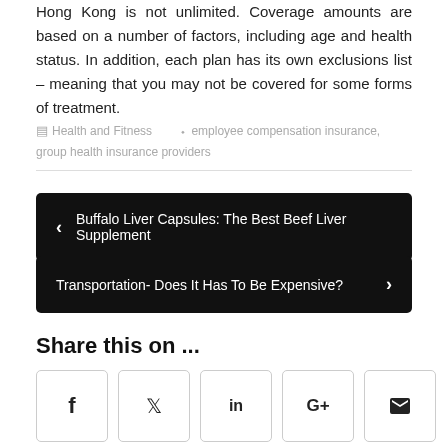Hong Kong is not unlimited. Coverage amounts are based on a number of factors, including age and health status. In addition, each plan has its own exclusions list – meaning that you may not be covered for some forms of treatment.
Health and Fitness   employee compensation insurance, group health insurance providers
< Buffalo Liver Capsules: The Best Beef Liver Supplement
Transportation- Does It Has To Be Expensive? >
Share this on ...
Social share icons: Facebook, Twitter, LinkedIn, Google+, Email